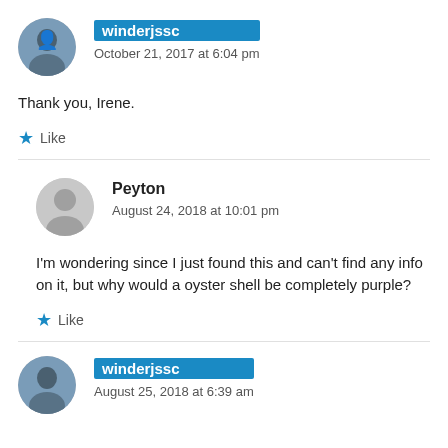winderjssc — October 21, 2017 at 6:04 pm
Thank you, Irene.
Like
Peyton — August 24, 2018 at 10:01 pm
I'm wondering since I just found this and can't find any info on it, but why would a oyster shell be completely purple?
Like
winderjssc — August 25, 2018 at 6:39 am